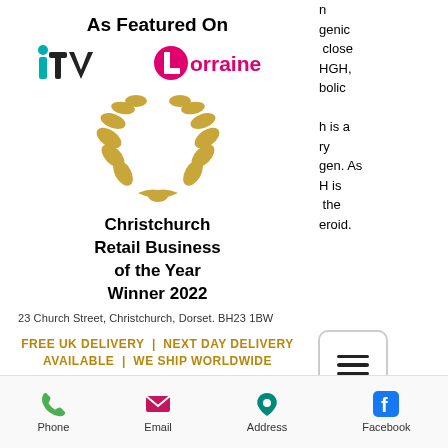As Featured On
[Figure (logo): ITV and Lorraine TV channel logos side by side]
[Figure (illustration): Gold laurel wreath award symbol]
Christchurch Retail Business of the Year Winner 2022
23 Church Street, Christchurch, Dorset. BH23 1BW
FREE UK DELIVERY | NEXT DAY DELIVERY AVAILABLE | WE SHIP WORLDWIDE
n
genic
close
HGH,
bolic

h is a
ry
gen. As
H is
the
eroid.
[Figure (infographic): Navigation menu hamburger icon button]
Phone | Email | Address | Facebook